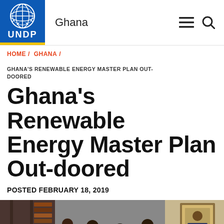Ghana
HOME / GHANA /
GHANA'S RENEWABLE ENERGY MASTER PLAN OUT-DOORED
Ghana's Renewable Energy Master Plan Out-doored
POSTED FEBRUARY 18, 2019
[Figure (photo): Group of people seated in a meeting room, with a framed portrait of a person on the wall in the background]